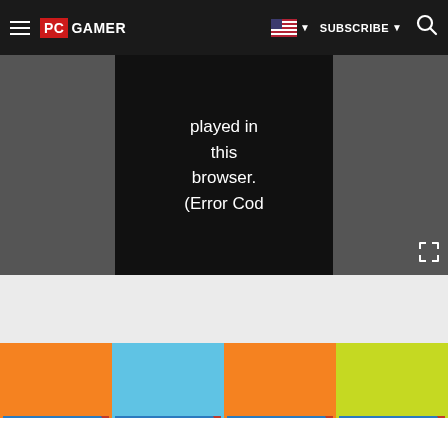PC Gamer navigation bar with hamburger menu, PC GAMER logo, flag/subscribe/search controls
[Figure (screenshot): Video player area with error message 'played in this browser. (Error Cod' displayed in center panel on dark background, with fullscreen icon at bottom right]
[Figure (photo): Row of four PC Gamer Special Edition magazine covers: orange, light blue, orange, and lime/yellow-green colored covers, each showing 'SPECIAL EDITION' badge and PC GAMER logo at bottom]